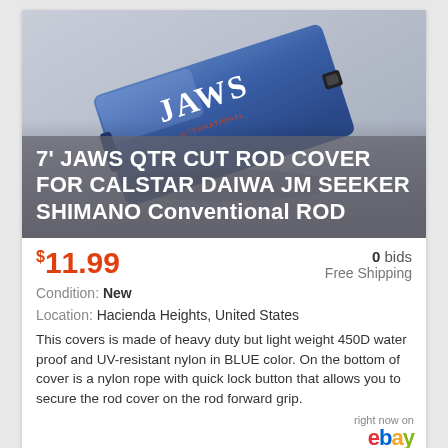[Figure (photo): Blue JAWS rod cover bag lying flat, showing JAWS logo text in white and orange on the blue nylon material.]
7' JAWS QTR CUT ROD COVER FOR CALSTAR DAIWA JM SEEKER SHIMANO Conventional ROD
$11.99   0 bids   Free Shipping   Condition: New   Location: Hacienda Heights, United States
This covers is made of heavy duty but light weight 450D water proof and UV-resistant nylon in BLUE color. On the bottom of cover is a nylon rope with quick lock button that allows you to secure the rod cover on the rod forward grip.
right now on eBay